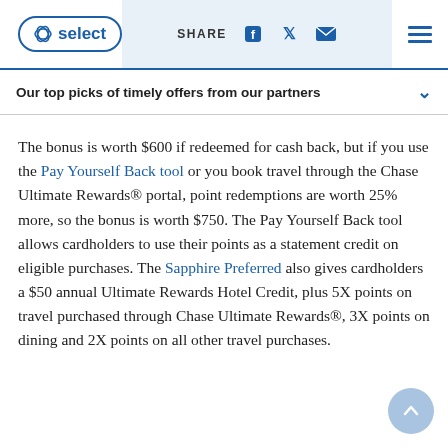NBC Select | SHARE [facebook] [twitter] [email] [menu]
Our top picks of timely offers from our partners
The bonus is worth $600 if redeemed for cash back, but if you use the Pay Yourself Back tool or you book travel through the Chase Ultimate Rewards® portal, point redemptions are worth 25% more, so the bonus is worth $750. The Pay Yourself Back tool allows cardholders to use their points as a statement credit on eligible purchases. The Sapphire Preferred also gives cardholders a $50 annual Ultimate Rewards Hotel Credit, plus 5X points on travel purchased through Chase Ultimate Rewards®, 3X points on dining and 2X points on all other travel purchases.